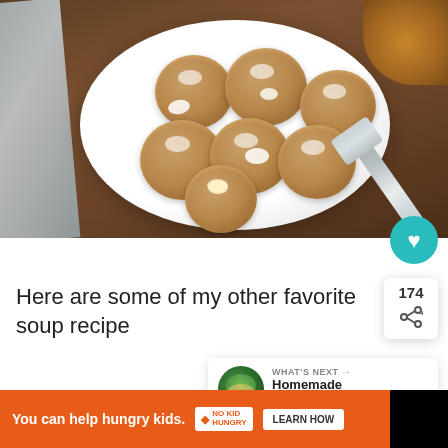[Figure (photo): Overhead photo of peanut butter marshmallow cookies on a white plate, on a dark wood table with a gray cloth napkin, spatula, and bowl of peanut butter visible]
Here are some of my other favorite soup recipe
WHAT'S NEXT → Homemade Noodles &...
You can help hungry kids.
LEARN HOW